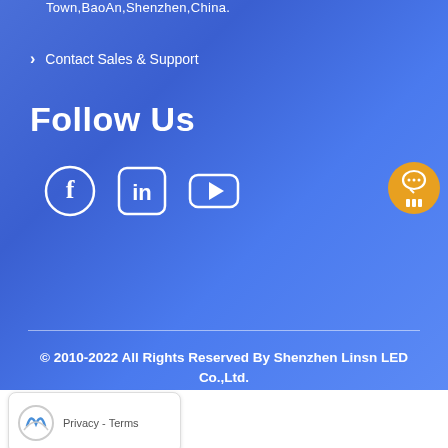Town,BaoAn,Shenzhen,China.
> Contact Sales & Support
Follow Us
[Figure (illustration): Social media icons: Facebook, LinkedIn, YouTube]
[Figure (illustration): Orange circular chat button with speech bubble and pause icon]
© 2010-2022 All Rights Reserved By Shenzhen Linsn LED Co.,Ltd.
[Figure (illustration): reCAPTCHA widget with Privacy - Terms text]